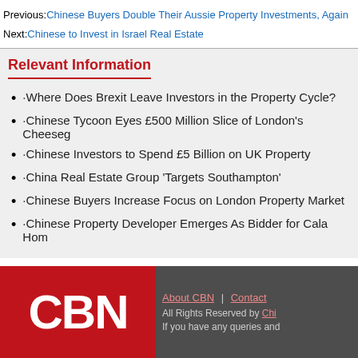Previous: Chinese Buyers Double Their Aussie Property Investments, Again
Next: Chinese to Invest in Israel Real Estate
Relevant Information
Where Does Brexit Leave Investors in the Property Cycle?
Chinese Tycoon Eyes £500 Million Slice of London's Cheeseg...
Chinese Investors to Spend £5 Billion on UK Property
China Real Estate Group 'Targets Southampton'
Chinese Buyers Increase Focus on London Property Market
Chinese Property Developer Emerges As Bidder for Cala Hom...
CBN | About CBN | Contact | All Rights Reserved by Chi... | If you have any queries and...